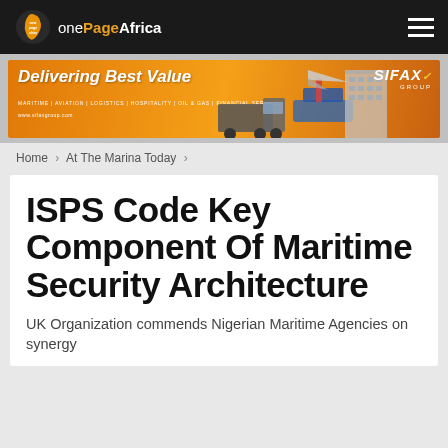onePageAfrica
[Figure (illustration): SIFAX Group banner advertisement: 'Delivering Best Value' with images of trucks, cargo ship, airplane, and buildings. Tagline lists: Maritime | Aviation | Logistics | Hospitality | Oil & Gas | Financial Services. www.sifaxgroup.com]
Home > At The Marina Today >
ISPS Code Key Component Of Maritime Security Architecture
UK Organization commends Nigerian Maritime Agencies on synergy